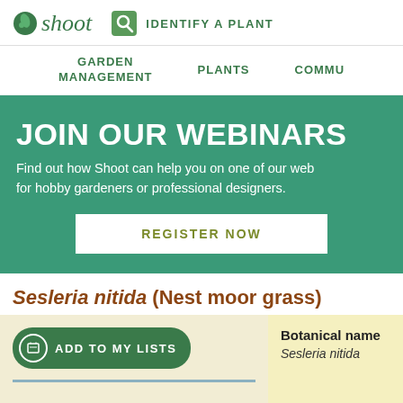Shoot | IDENTIFY A PLANT | GARDEN MANAGEMENT | PLANTS | COMMU
JOIN OUR WEBINARS
Find out how Shoot can help you on one of our web for hobby gardeners or professional designers.
REGISTER NOW
Sesleria nitida (Nest moor grass)
ADD TO MY LISTS
Botanical name
Sesleria nitida